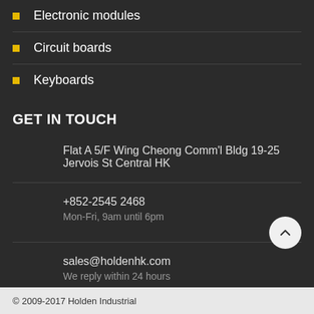Electronic modules
Circuit boards
Keyboards
GET IN TOUCH
Flat A 5/F Wing Cheong Comm'l Bldg 19-25 Jervois St Central HK
+852-2545 2468
Mon-Fri, 9am until 6pm
sales@holdenhk.com
We reply within 24 hours
© 2009-2017 Holden Industrial